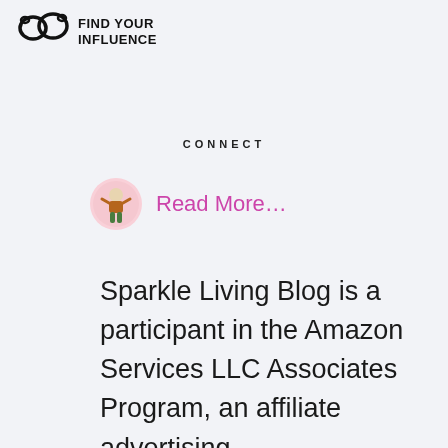[Figure (logo): Find Your Influence logo with speech bubble icon and bold text FIND YOUR INFLUENCE]
CONNECT
[Figure (illustration): Small circular avatar with a cartoon character illustration in pink/brown tones]
Read More…
Sparkle Living Blog is a participant in the Amazon Services LLC Associates Program, an affiliate advertising